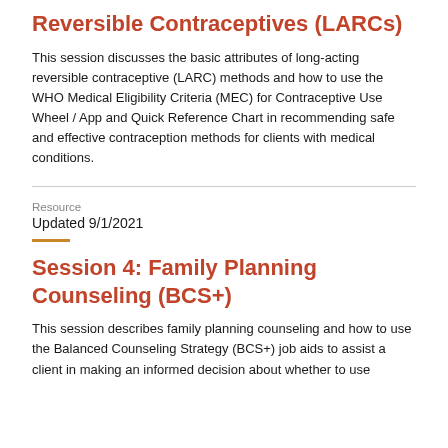Reversible Contraceptives (LARCs)
This session discusses the basic attributes of long-acting reversible contraceptive (LARC) methods and how to use the WHO Medical Eligibility Criteria (MEC) for Contraceptive Use Wheel / App and Quick Reference Chart in recommending safe and effective contraception methods for clients with medical conditions.
Resource
Updated 9/1/2021
Session 4: Family Planning Counseling (BCS+)
This session describes family planning counseling and how to use the Balanced Counseling Strategy (BCS+) job aids to assist a client in making an informed decision about whether to use